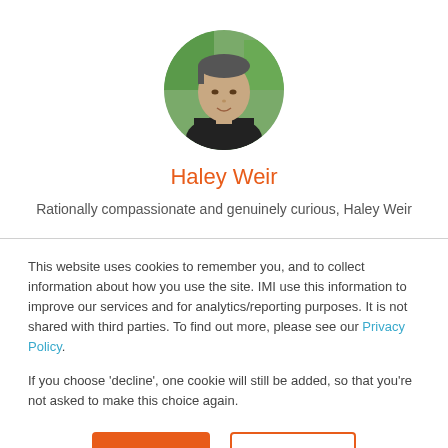[Figure (photo): Circular profile photo of Haley Weir, a person with short hair wearing a dark jacket, outdoors with green foliage in the background.]
Haley Weir
Rationally compassionate and genuinely curious, Haley Weir
This website uses cookies to remember you, and to collect information about how you use the site. IMI use this information to improve our services and for analytics/reporting purposes. It is not shared with third parties. To find out more, please see our Privacy Policy.
If you choose 'decline', one cookie will still be added, so that you're not asked to make this choice again.